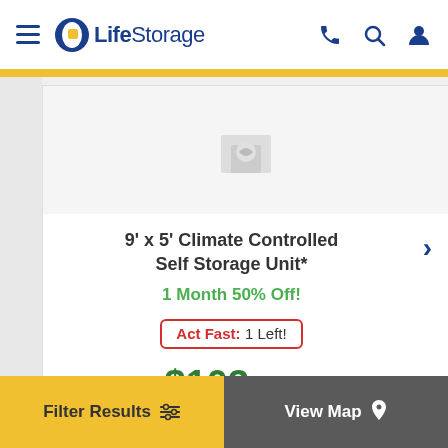LifeStorage
[Figure (illustration): Storage unit thumbnail placeholder image with faint icon]
9' x 5' Climate Controlled Self Storage Unit*
1 Month 50% Off!
Act Fast: 1 Left!
$103/mo.
$115 In-Sto...
Filter Results   View Map